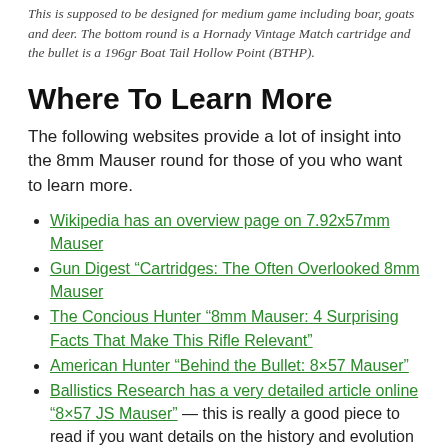This is supposed to be designed for medium game including boar, goats and deer. The bottom round is a Hornady Vintage Match cartridge and the bullet is a 196gr Boat Tail Hollow Point (BTHP).
Where To Learn More
The following websites provide a lot of insight into the 8mm Mauser round for those of you who want to learn more.
Wikipedia has an overview page on 7.92x57mm Mauser
Gun Digest “Cartridges: The Often Overlooked 8mm Mauser
The Concious Hunter “8mm Mauser: 4 Surprising Facts That Make This Rifle Relevant”
American Hunter “Behind the Bullet: 8×57 Mauser”
Ballistics Research has a very detailed article online “8×57 JS Mauser” — this is really a good piece to read if you want details on the history and evolution of 8mm Mauser.
Where To Buy 8mm Mauser (8×57 JS